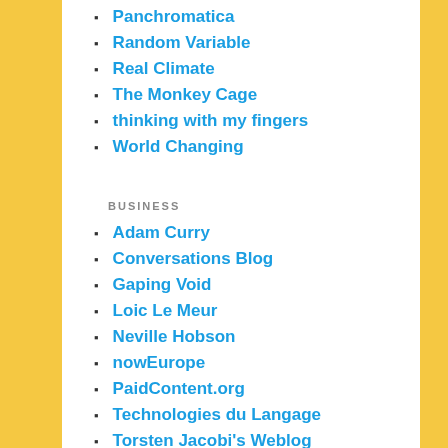Panchromatica
Random Variable
Real Climate
The Monkey Cage
thinking with my fingers
World Changing
BUSINESS
Adam Curry
Conversations Blog
Gaping Void
Loic Le Meur
Neville Hobson
nowEurope
PaidContent.org
Technologies du Langage
Torsten Jacobi's Weblog
Voidstar
CENTRAL AND WESTERN EUROPE
All About Latvia